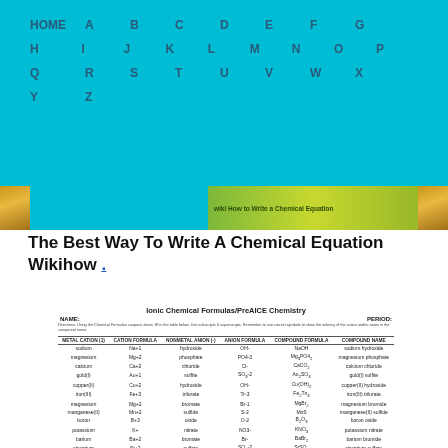HOME A B C D E F G H I J K L M N O P Q R S T U V W X Y Z
[Figure (screenshot): Navigation banner with alphabet links on cyan background, wood block decorations, and green banner reading 'wiki How to Write a Chemical Equation']
The Best Way To Write A Chemical Equation Wikihow .
| NAME | CATION (charge) | FORMULA | ANION (charge) | FORMULA | COMPOUND FORMULA | COMPOUND NAME |
| --- | --- | --- | --- | --- | --- | --- |
| sodium | Na+1 | hydroxide | OH- | NaOH | sodium hydroxide |
| magnesium | Mg+2 | phosphate | PO4-3 | Mg3PO42 | magnesium phosphate |
| calcium | Ca+2 | chloride | Cl- | CaCO2 | calcium chloride |
| gold(I) | Au+1 | sulfite | SO3-2 | Au2SO3 | gold(I) sulfite |
| copper(II) | Cu+2 | hydroxide | OH- | Cu(OH)2 | copper(II) hydroxide |
| iron(III) | Fe+3 | nitrate | No-3 | Fe2Tn3 | iron(III) nitrate |
| magnesium | Mg+2 | bromate | Br-1 | MgBr2 | magnesium bromide |
| manganese(II) | Mn+2 | sulfide | S-2 | MnS | manganese(II) sulfide |
| boron | B+3 | oxide | O-2 | B2O3 | boron oxide |
| potassium | K+ | nitrate | NO3- | KNO3 | potassium nitrate |
| barium | Ba+2 | bromate | Br- | BaBr2 | barium bromide |
| strontium | Sr+2 | sulfite | SO3-2 | SrSO3 | strontium sulfate |
| iron(II) | Fe+2 | oxide | O-2 | FeO2 | iron(II) oxide |
| silver(I) | Ag+1 | chloride | Cl- | AgCl | silver(I) chloride |
| aluminum | Al+3 | carbonate | CO3-2 | Al2(CO3)3 | aluminum carbonate |
| gold(II) | Au+2 | nitride | N-3 | Au3N2 | gold(II) nitride |
| cesium | Cs+1 | phosphate | PO4-3 | Cs3PO4 | cesium phosphate |
| ammonium | NH4+ | sulfide | S-2 | (NH4)2S | ammonium sulfide |